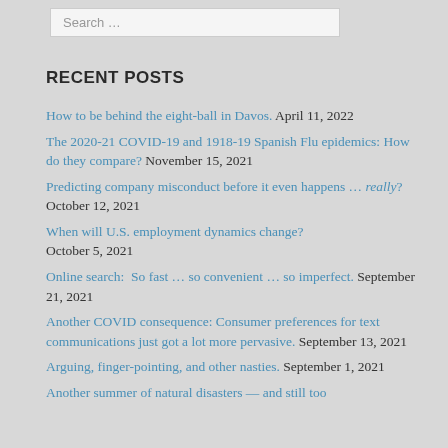Search …
RECENT POSTS
How to be behind the eight-ball in Davos. April 11, 2022
The 2020-21 COVID-19 and 1918-19 Spanish Flu epidemics: How do they compare? November 15, 2021
Predicting company misconduct before it even happens … really? October 12, 2021
When will U.S. employment dynamics change? October 5, 2021
Online search: So fast … so convenient … so imperfect. September 21, 2021
Another COVID consequence: Consumer preferences for text communications just got a lot more pervasive. September 13, 2021
Arguing, finger-pointing, and other nasties. September 1, 2021
Another summer of natural disasters — and still too